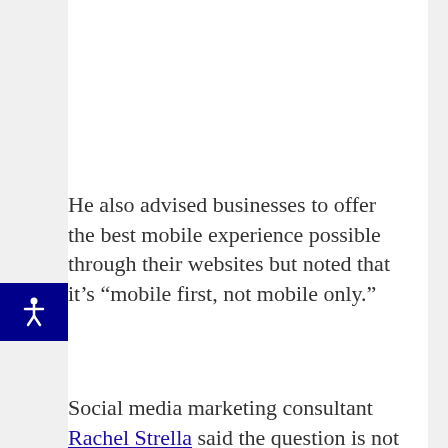He also advised businesses to offer the best mobile experience possible through their websites but noted that it's “mobile first, not mobile only.”
Social media marketing consultant Rachel Strella said the question is not whether one takes priority over the other but, rather, how to unite the two.